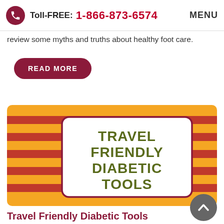Toll-FREE: 1-866-873-6574  MENU
review some myths and truths about healthy foot care.
READ MORE
[Figure (illustration): Decorative card with orange and red horizontal stripes background, white rounded rectangle in center with text: TRAVEL FRIENDLY DIABETIC TOOLS in olive/dark green bold uppercase letters]
Travel Friendly Diabetic Tools
It's the holiday season, and with that comes more traveling...